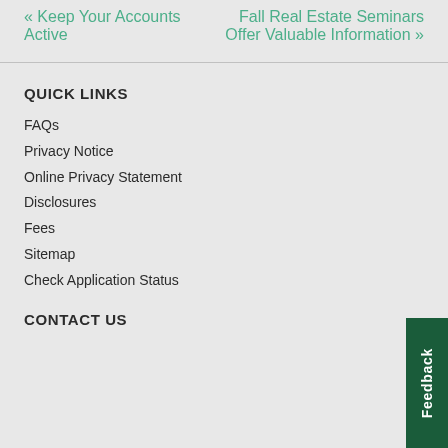« Keep Your Accounts Active
Fall Real Estate Seminars Offer Valuable Information »
QUICK LINKS
FAQs
Privacy Notice
Online Privacy Statement
Disclosures
Fees
Sitemap
Check Application Status
CONTACT US